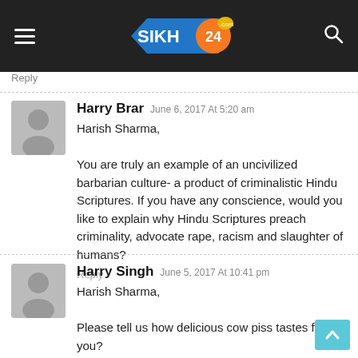[Figure (logo): Sikh24.com website logo on dark navigation bar with hamburger menu and search icon]
Reply
Harry Brar  June 6, 2017 At 5:20 am
Harish Sharma,

You are truly an example of an uncivilized barbarian culture- a product of criminalistic Hindu Scriptures. If you have any conscience, would you like to explain why Hindu Scriptures preach criminality, advocate rape, racism and slaughter of humans?

Reply
Harry Singh  June 5, 2017 At 10:41 pm
Harish Sharma,

Please tell us how delicious cow piss tastes for you?